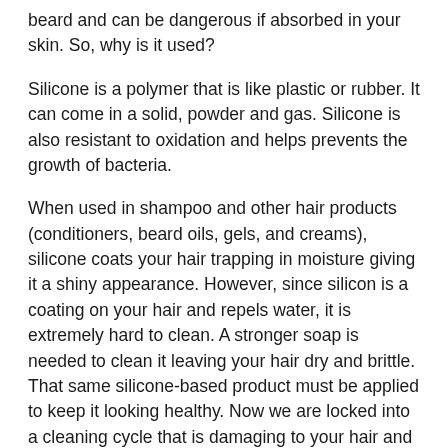beard and can be dangerous if absorbed in your skin. So, why is it used?
Silicone is a polymer that is like plastic or rubber. It can come in a solid, powder and gas. Silicone is also resistant to oxidation and helps prevents the growth of bacteria.
When used in shampoo and other hair products (conditioners, beard oils, gels, and creams), silicone coats your hair trapping in moisture giving it a shiny appearance. However, since silicon is a coating on your hair and repels water, it is extremely hard to clean. A stronger soap is needed to clean it leaving your hair dry and brittle. That same silicone-based product must be applied to keep it looking healthy. Now we are locked into a cleaning cycle that is damaging to your hair and to your skin. The hidden